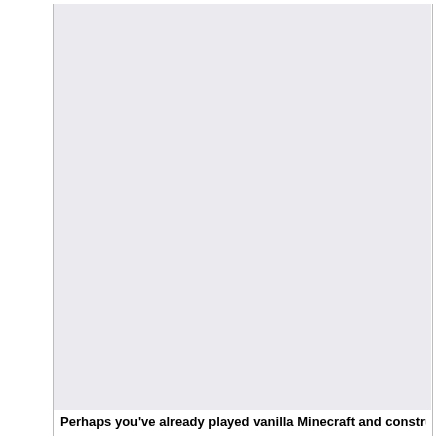[Figure (screenshot): Screenshot of a web page with a light gray background area (top portion), partially showing article content about Minecraft servers]
Perhaps you've already played vanilla Minecraft and constructed
We use cookies on our website to give you the most relevant experience by remembering your preferences and repeat visits. By clicking “Accept”, you consent to the use of all cookies.
Accept
brand is ‘Minecraft servers - Free - Forever’, a logo you'll see as quickly as you open their webpage, displaying how dedicated they’re to providing Minecraft servers. This is easy to do on a local Computer as you only have to open up the folder to see all
the recordsdata and not a lot harder to do on a remote server.